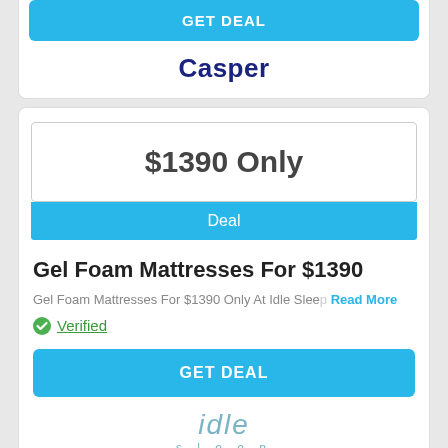[Figure (other): GET DEAL button (blue, rounded) for Casper]
Casper
[Figure (other): Price box showing $1390 Only with Deal bar below]
Gel Foam Mattresses For $1390
Gel Foam Mattresses For $1390 Only At Idle Slee: Read More
Verified
[Figure (other): GET DEAL button (blue, rounded) for Idle Sleep]
[Figure (logo): idle sleep logo in teal italic text]